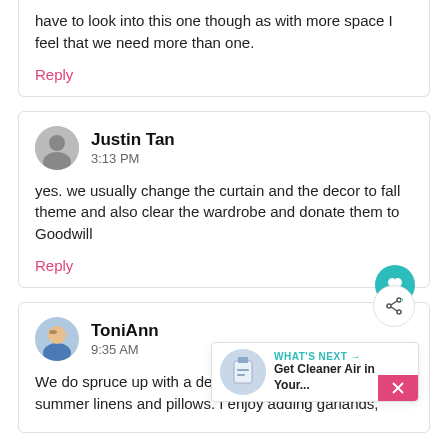have to look into this one though as with more space I feel that we need more than one.
Reply
Justin Tan
3:13 PM
yes. we usually change the curtain and the decor to fall theme and also clear the wardrobe and donate them to Goodwill
Reply
ToniAnn
9:35 AM
We do spruce up with a decluttering and putting away of summer linens and pillows. I enjoy adding garlands,